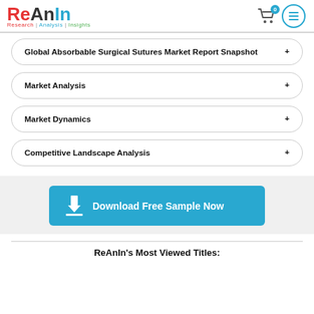ReAnIn Research | Analysis | Insights
Global Absorbable Surgical Sutures Market Report Snapshot
Market Analysis
Market Dynamics
Competitive Landscape Analysis
[Figure (other): Download Free Sample Now button with download arrow icon]
ReAnIn's Most Viewed Titles: